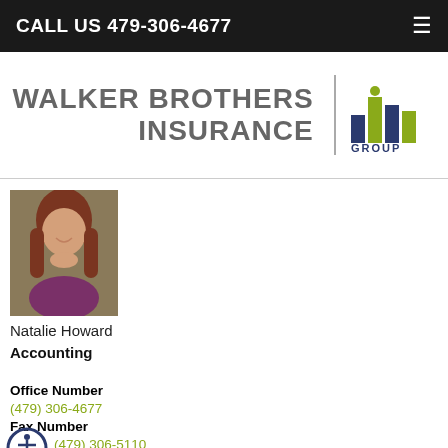CALL US 479-306-4677
[Figure (logo): Walker Brothers Insurance | Hilb Group logo. Text reads WALKER BROTHERS INSURANCE with a vertical divider and Hilb Group logo mark on the right.]
[Figure (photo): Headshot photo of Natalie Howard, a woman with red/auburn hair wearing a purple top, smiling.]
Natalie Howard
Accounting
Office Number
(479) 306-4677
Fax Number
(479) 306-5110
Download vCard